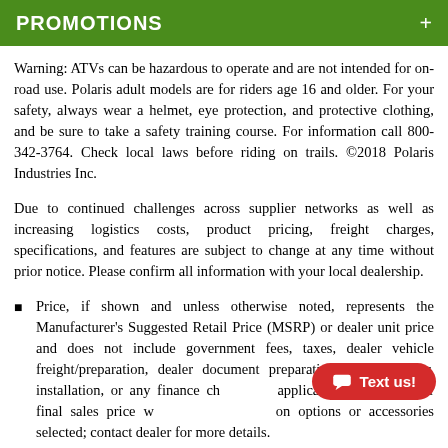PROMOTIONS
Warning: ATVs can be hazardous to operate and are not intended for on-road use. Polaris adult models are for riders age 16 and older. For your safety, always wear a helmet, eye protection, and protective clothing, and be sure to take a safety training course. For information call 800-342-3764. Check local laws before riding on trails. ©2018 Polaris Industries Inc.
Due to continued challenges across supplier networks as well as increasing logistics costs, product pricing, freight charges, specifications, and features are subject to change at any time without prior notice. Please confirm all information with your local dealership.
Price, if shown and unless otherwise noted, represents the Manufacturer's Suggested Retail Price (MSRP) or dealer unit price and does not include government fees, taxes, dealer vehicle freight/preparation, dealer document preparation charges, labor, installation, or any finance charges (if applicable). MSRP and/or final sales price will vary depending on options or accessories selected; contact dealer for more details.